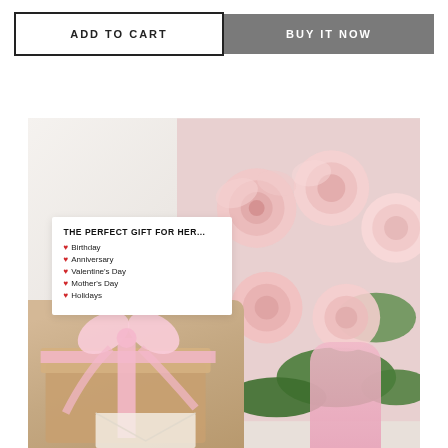ADD TO CART
BUY IT NOW
[Figure (photo): Product lifestyle photo showing a white card reading 'THE PERFECT GIFT FOR HER...' with bullet list: Birthday, Anniversary, Valentine's Day, Mother's Day, Holidays (each preceded by a red heart). The card is surrounded by pink roses on a marble white surface, with a kraft gift box with pink ribbon in the lower left corner and a pink dotted ribbon in the lower right.]